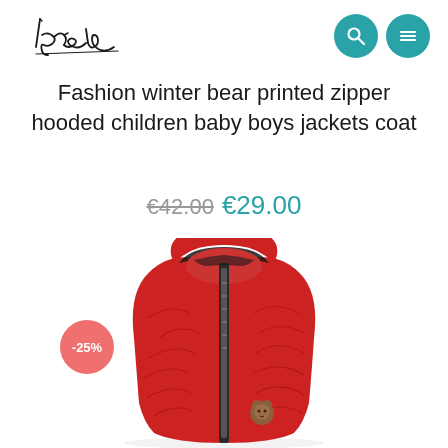[Figure (logo): Handwritten signature-style logo reading 'Lytha' in black ink]
[Figure (illustration): Two teal circular navigation buttons: one with a magnifying glass icon, one with a hamburger/menu icon]
Fashion winter bear printed zipper hooded children baby boys jackets coat
€42.00 €29.00
[Figure (photo): Red quilted children's hooded puffer jacket with black zipper and small bear patch, photographed on white background with a -25% discount badge]